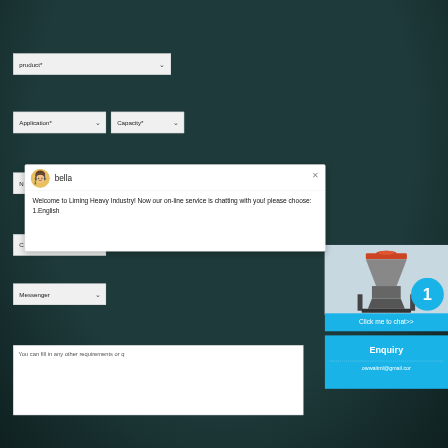[Figure (screenshot): Web form interface with dark teal background showing dropdown fields for product, application, capacity, name, messenger; an overlaid live chat popup from 'bella' saying 'Welcome to Liming Heavy Industry! Now our on-line service is chatting with you! please choose: 1.English'; a machine photo widget with blue badge showing '1'; a 'Click me to chat>>' button; and an Enquiry panel in cyan/teal]